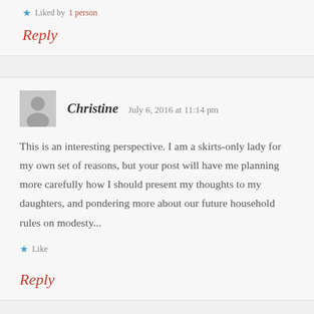Liked by 1 person
Reply
Christine   July 6, 2016 at 11:14 pm
This is an interesting perspective. I am a skirts-only lady for my own set of reasons, but your post will have me planning more carefully how I should present my thoughts to my daughters, and pondering more about our future household rules on modesty...
Like
Reply